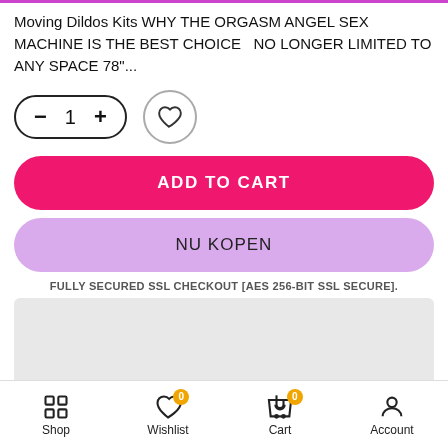Moving Dildos Kits WHY THE ORGASM ANGEL SEX MACHINE IS THE BEST CHOICE  NO LONGER LIMITED TO ANY SPACE 78"...
[Figure (other): Quantity selector control with minus, 1, and plus buttons, and a heart wishlist button]
ADD TO CART
NU KOPEN
FULLY SECURED SSL CHECKOUT [AES 256-BIT SSL SECURE].
[Figure (other): Gray placeholder box]
Shop  Wishlist 0  Cart 0  Account